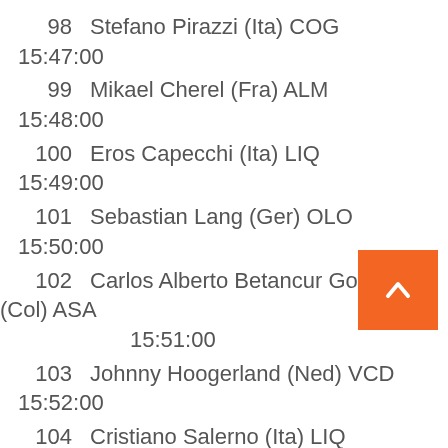98   Stefano Pirazzi (Ita) COG   15:47:00
99   Mikael Cherel (Fra) ALM   15:48:00
100   Eros Capecchi (Ita) LIQ   15:49:00
101   Sebastian Lang (Ger) OLO   15:50:00
102   Carlos Alberto Betancur Gomez (Col) ASA   15:51:00
103   Johnny Hoogerland (Ned) VCD   15:52:00
104   Cristiano Salerno (Ita) LIQ   15:53:00
105   Alberto Losada Alguacil (Esp) KAT   15:54:00
106   Michael Barry (Can) SKY   15:55:00